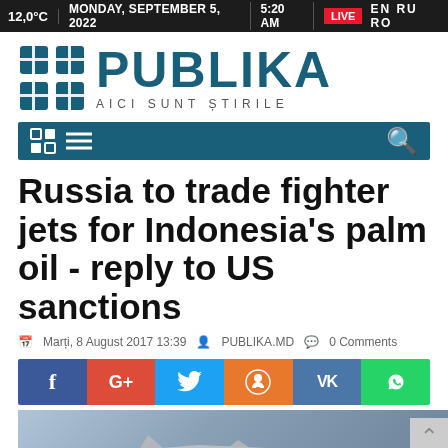12,0°C | MONDAY, SEPTEMBER 5, 2022 | 5:20 AM | LIVE | EN RU RO
[Figure (logo): Publika logo with teal grid icon and text PUBLIKA AICI SUNT ȘTIRILE]
[Figure (screenshot): Publika website navigation bar with grid/menu icons and search icon]
Russia to trade fighter jets for Indonesia's palm oil - reply to US sanctions
Marți, 8 August 2017 13:39 · PUBLIKA.MD · 0 Comments
[Figure (infographic): Social share buttons: Facebook, Google+, Twitter, Odnoklassniki, VKontakte, WhatsApp]
[Figure (photo): Partial photo of a military fighter jet aircraft]